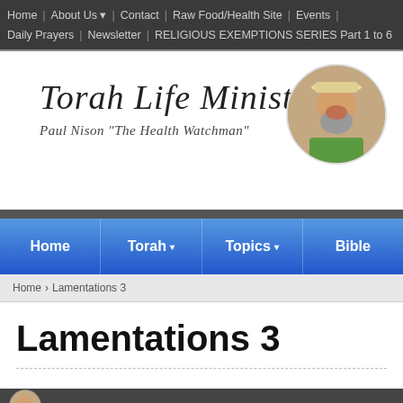Home | About Us | Contact | Raw Food/Health Site | Events | Daily Prayers | Newsletter | RELIGIOUS EXEMPTIONS SERIES Part 1 to 6
[Figure (logo): Torah Life Ministries banner with logo text and portrait of Paul Nison 'The Health Watchman']
Home | Torah | Topics | Bible
Home › Lamentations 3
Lamentations 3
[Figure (photo): Small circular avatar portrait at the bottom of the page]